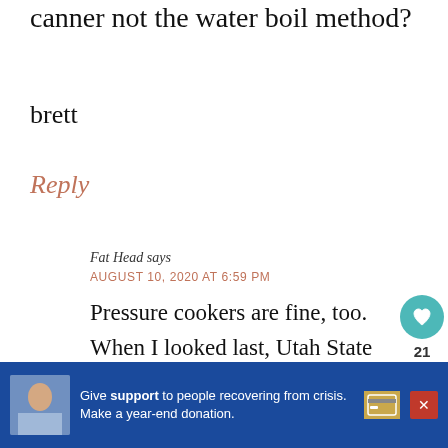canner not the water boil method?
brett
Reply
Fat Head says
AUGUST 10, 2020 AT 6:59 PM
Pressure cookers are fine, too. When I looked last, Utah State University has and exten office that gives details on safe
[Figure (screenshot): Social sidebar with heart icon button showing 21 likes and a share button]
[Figure (screenshot): What's Next panel with thumbnail image and text 'Salsa Recipe for Canning']
[Figure (screenshot): Advertisement banner: Give support to people recovering from crisis. Make a year-end donation.]